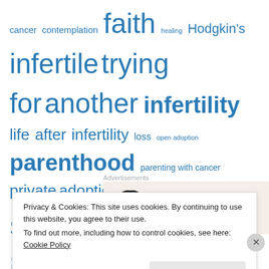[Figure (other): Tag cloud with blue hyperlinked text in varying sizes: cancer, contemplation, faith, healing, Hodgkin's, infertile trying for another, infertility, life after infertility, loss, open adoption, parenthood, parenting with cancer, private adoption, secondary infertility, transracial adoption, twin mom, twins]
Advertisements
[Figure (logo): WordPress logo - circular W icon on beige/pink background]
Privacy & Cookies: This site uses cookies. By continuing to use this website, you agree to their use.
To find out more, including how to control cookies, see here: Cookie Policy
Close and accept